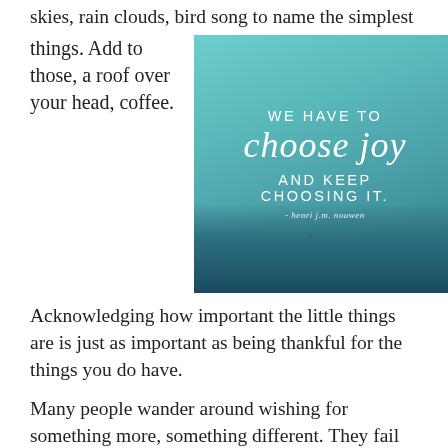skies, rain clouds, bird song to name the simplest things. Add to those, a roof over your head, coffee.
[Figure (illustration): Inspirational quote image with teal/turquoise ocean and mountain background. Text reads: 'WE HAVE TO choose joy AND KEEP CHOOSING IT. - henri j.m. nouwen']
Acknowledging how important the little things are is just as important as being thankful for the things you do have.
Many people wander around wishing for something more, something different. They fail to recognize h